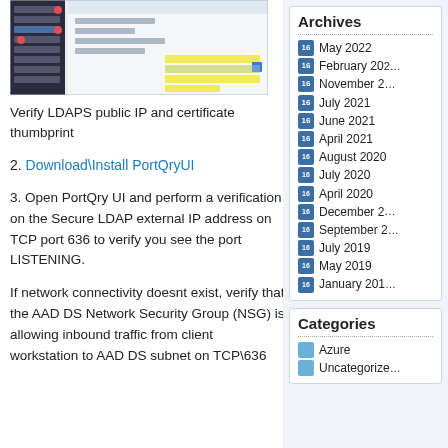[Figure (screenshot): Screenshot of LDAPS public IP and certificate thumbprint configuration window]
Verify LDAPS public IP and certificate thumbprint
2. Download\Install PortQryUI
3. Open PortQry UI and perform a verification on the Secure LDAP external IP address on TCP port 636 to verify you see the port LISTENING.
If network connectivity doesnt exist, verify that the AAD DS Network Security Group (NSG) is allowing inbound traffic from client workstation to AAD DS subnet on TCP\636
Archives
May 2022
February 20...
November 2...
July 2021
June 2021
April 2021
August 2020
July 2020
April 2020
December 2...
September 2...
July 2019
May 2019
January 201...
Categories
Azure
Uncategorize...